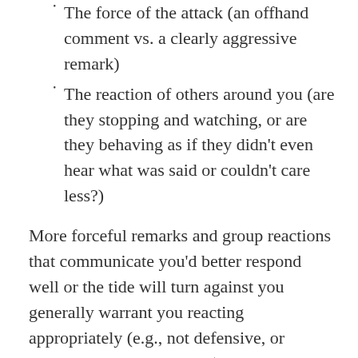The force of the attack (an offhand comment vs. a clearly aggressive remark)
The reaction of others around you (are they stopping and watching, or are they behaving as if they didn't even hear what was said or couldn't care less?)
More forceful remarks and group reactions that communicate you'd better respond well or the tide will turn against you generally warrant you reacting appropriately (e.g., not defensive, or explanatory, but measured).
Note that a forceful attack that is NOT in danger of winning over the group you may still choose to remain unreactive toward if the challenger is making herself or himself look